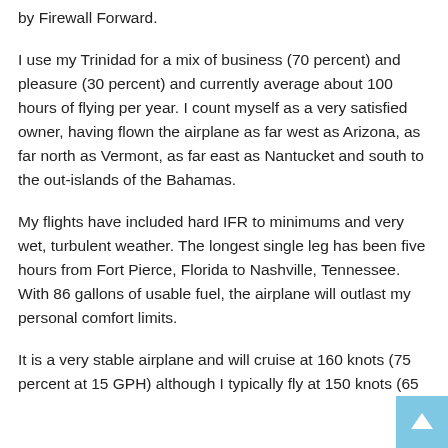by Firewall Forward.
I use my Trinidad for a mix of business (70 percent) and pleasure (30 percent) and currently average about 100 hours of flying per year. I count myself as a very satisfied owner, having flown the airplane as far west as Arizona, as far north as Vermont, as far east as Nantucket and south to the out-islands of the Bahamas.
My flights have included hard IFR to minimums and very wet, turbulent weather. The longest single leg has been five hours from Fort Pierce, Florida to Nashville, Tennessee. With 86 gallons of usable fuel, the airplane will outlast my personal comfort limits.
It is a very stable airplane and will cruise at 160 knots (75 percent at 15 GPH) although I typically fly at 150 knots (65